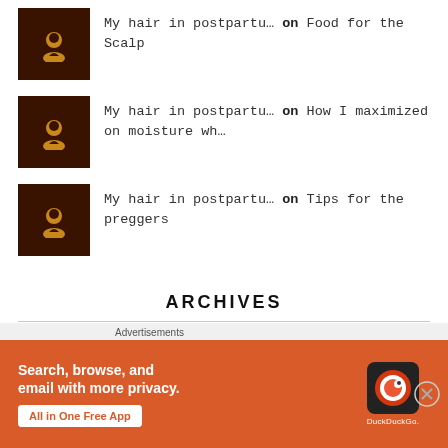My hair in postpartu… on Food for the Scalp
My hair in postpartu… on How I maximized on moisture wh…
My hair in postpartu… on Tips for the preggers
ARCHIVES
September 2021
[Figure (other): DuckDuckGo advertisement banner: Search, browse, and email with more privacy. All in One Free App.]
Advertisements